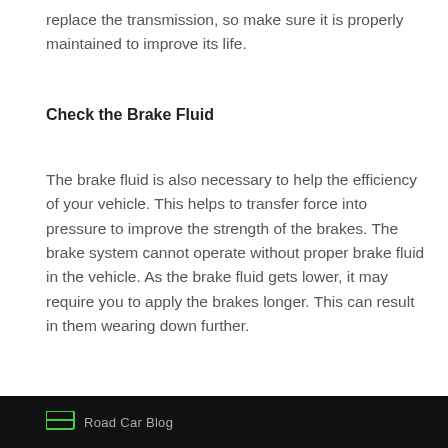replace the transmission, so make sure it is properly maintained to improve its life.
Check the Brake Fluid
The brake fluid is also necessary to help the efficiency of your vehicle. This helps to transfer force into pressure to improve the strength of the brakes. The brake system cannot operate without proper brake fluid in the vehicle. As the brake fluid gets lower, it may require you to apply the brakes longer. This can result in them wearing down further.
Road Car Blog